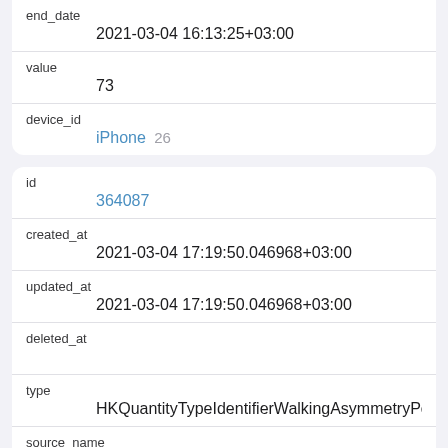| field | value |
| --- | --- |
| end_date | 2021-03-04 16:13:25+03:00 |
| value | 73 |
| device_id | iPhone 26 |
| field | value |
| --- | --- |
| id | 364087 |
| created_at | 2021-03-04 17:19:50.046968+03:00 |
| updated_at | 2021-03-04 17:19:50.046968+03:00 |
| deleted_at |  |
| type | HKQuantityTypeIdentifierWalkingAsymmetryPercenta |
| source_name | iPhone (Vsevolod) |
| source_version |  |